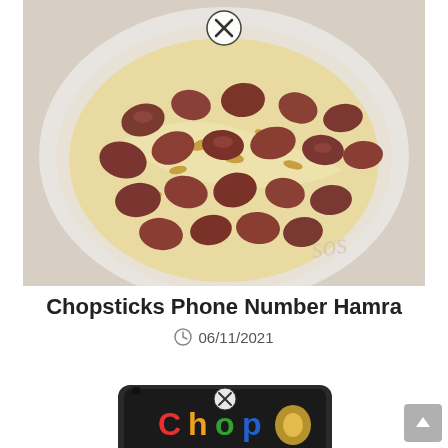[Figure (photo): A white dish/bowl filled with hummus topped with pieces of cooked meat (lamb or beef) and pine nuts, with a decorative script watermark in the lower right. A close/X button overlay appears at the top center of the image.]
Chopsticks Phone Number Hamra
06/11/2021
[Figure (photo): Partial view of a smartphone with a dark case showing a colorful graphic/logo on the screen, with a close/X button overlay at the top center.]